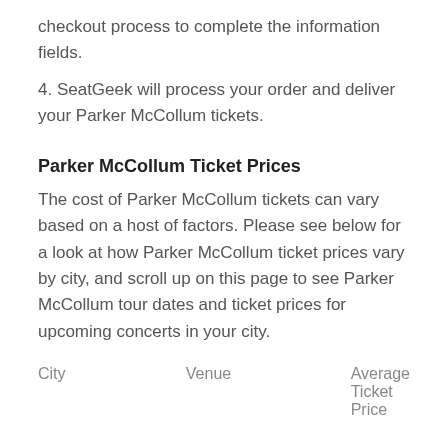checkout process to complete the information fields.
4. SeatGeek will process your order and deliver your Parker McCollum tickets.
Parker McCollum Ticket Prices
The cost of Parker McCollum tickets can vary based on a host of factors. Please see below for a look at how Parker McCollum ticket prices vary by city, and scroll up on this page to see Parker McCollum tour dates and ticket prices for upcoming concerts in your city.
| City | Venue | Average Ticket Price |
| --- | --- | --- |